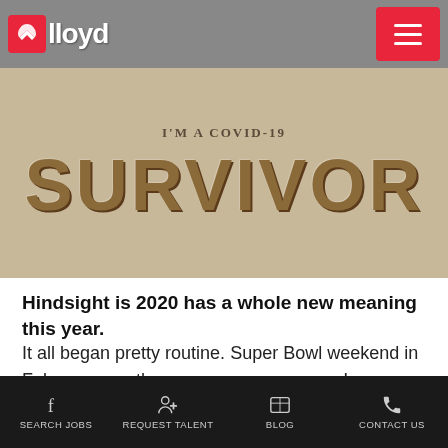Lloyd | I'M A COVID-19 SURVIVOR
[Figure (illustration): Woodcut-style text graphic reading 'I'M A COVID-19' on a banner scroll above large bold text 'SURVIVOR' on a tan/kraft paper textured background]
Hindsight is 2020 has a whole new meaning this year.
It all began pretty routine. Super Bowl weekend in February was the same as every year – I was on my annual ski trip in Vail, Colorado with my best friend when we started hearing something about a virus in China. It was on the news, but we never thought to pay much attention to it. We did what I suppose
SEARCH JOBS | REQUEST TALENT | BLOG | CONTACT US